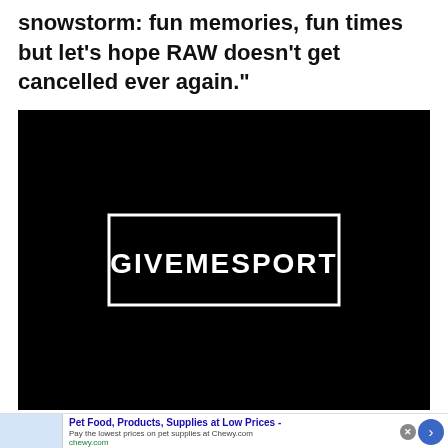snowstorm: fun memories, fun times but let’s hope RAW doesn’t get cancelled ever again.”
[Figure (logo): Black video thumbnail with GiveMeSport logo: white text 'GIVEMESPORT' inside a white rectangle border on black background]
[Figure (infographic): Advertisement banner: Pet Food, Products, Supplies at Low Prices - Pay the lowest prices on pet supplies at Chewy.com. chewy.com]